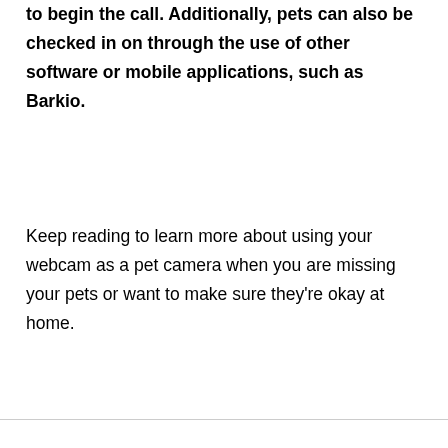to begin the call. Additionally, pets can also be checked in on through the use of other software or mobile applications, such as Barkio.
Keep reading to learn more about using your webcam as a pet camera when you are missing your pets or want to make sure they're okay at home.